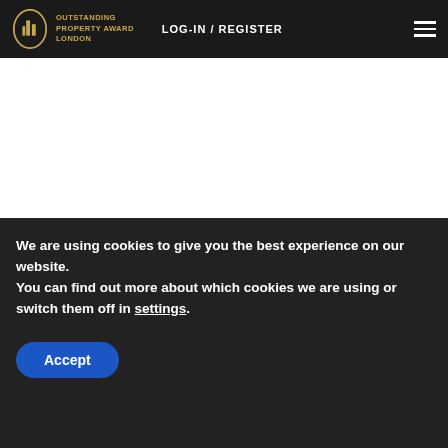OUTSTANDING PROPERTY AWARD LONDON | LOG-IN / REGISTER
Yanlord Phoenix Hill Residence
Medg
We are using cookies to give you the best experience on our website.
You can find out more about which cookies we are using or switch them off in settings.
Accept